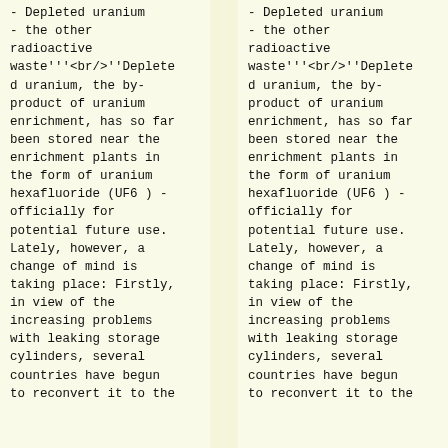Depleted uranium - the other radioactive waste'''<br/>''Depleted uranium, the by-product of uranium enrichment, has so far been stored near the enrichment plants in the form of uranium hexafluoride (UF6 ) - officially for potential future use. Lately, however, a change of mind is taking place: Firstly, in view of the increasing problems with leaking storage cylinders, several countries have begun to reconvert it to the
Depleted uranium - the other radioactive waste'''<br/>''Depleted uranium, the by-product of uranium enrichment, has so far been stored near the enrichment plants in the form of uranium hexafluoride (UF6 ) - officially for potential future use. Lately, however, a change of mind is taking place: Firstly, in view of the increasing problems with leaking storage cylinders, several countries have begun to reconvert it to the